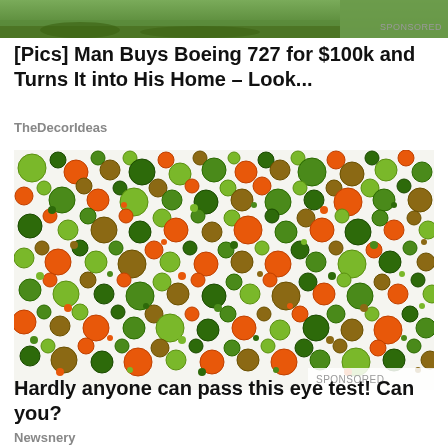[Figure (photo): Partial top image of outdoor/nature scene, cropped at top of page]
SPONSORED
[Pics] Man Buys Boeing 727 for $100k and Turns It into His Home – Look...
TheDecorIdeas
[Figure (illustration): Ishihara color blindness test plate: pattern of colored dots in orange, green, and brown/olive on white background, with SPONSORED label at bottom right]
SPONSORED
Hardly anyone can pass this eye test! Can you?
Newsnery